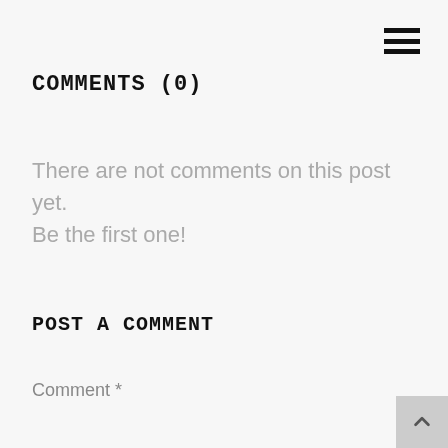COMMENTS (0)
There are not comments on this post yet. Be the first one!
POST A COMMENT
Comment *